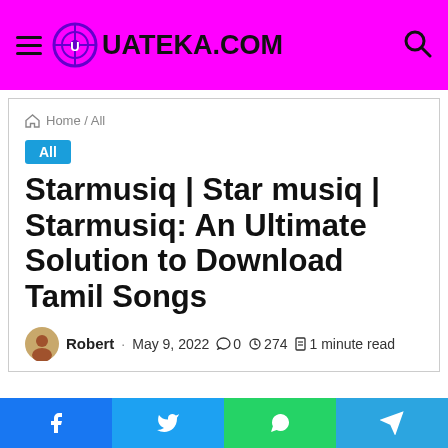UATEKA.COM
Home / All
All
Starmusiq | Star musiq | Starmusiq: An Ultimate Solution to Download Tamil Songs
Robert · May 9, 2022 · 0 · 274 · 1 minute read